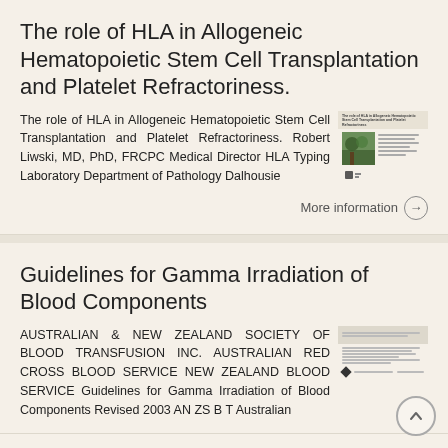The role of HLA in Allogeneic Hematopoietic Stem Cell Transplantation and Platelet Refractoriness.
The role of HLA in Allogeneic Hematopoietic Stem Cell Transplantation and Platelet Refractoriness. Robert Liwski, MD, PhD, FRCPC Medical Director HLA Typing Laboratory Department of Pathology Dalhousie
[Figure (thumbnail): Thumbnail preview of the document with a photo of trees and document text lines]
More information →
Guidelines for Gamma Irradiation of Blood Components
AUSTRALIAN & NEW ZEALAND SOCIETY OF BLOOD TRANSFUSION INC. AUSTRALIAN RED CROSS BLOOD SERVICE NEW ZEALAND BLOOD SERVICE Guidelines for Gamma Irradiation of Blood Components Revised 2003 AN ZS B T Australian
[Figure (thumbnail): Thumbnail preview of the guidelines document with horizontal lines and logos]